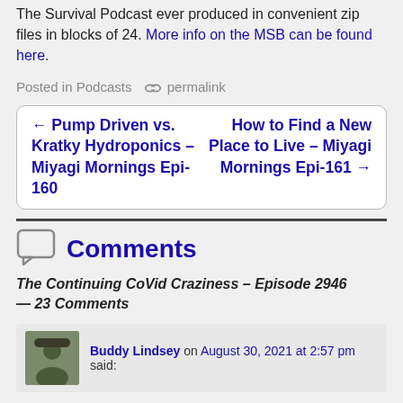The Survival Podcast ever produced in convenient zip files in blocks of 24. More info on the MSB can be found here.
Posted in Podcasts • permalink
← Pump Driven vs. Kratky Hydroponics – Miyagi Mornings Epi-160    How to Find a New Place to Live – Miyagi Mornings Epi-161 →
Comments
The Continuing CoVid Craziness – Episode 2946 — 23 Comments
Buddy Lindsey on August 30, 2021 at 2:57 pm said: